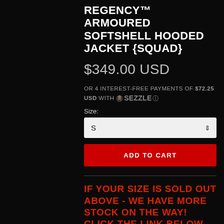REGENCY™ ARMOURED SOFTSHELL HOODED JACKET {SQUAD}
$349.00 USD
OR 4 INTEREST-FREE PAYMENTS OF $72.25 USD WITH sezzle ⓘ
Size:
S (size selector dropdown)
ADD TO CART
IF YOUR SIZE IS SOLD OUT ABOVE - WE HAVE MORE STOCK ON THE WAY! CLICK THE LINK BELOW TO RESERVE YOUR GEAR.